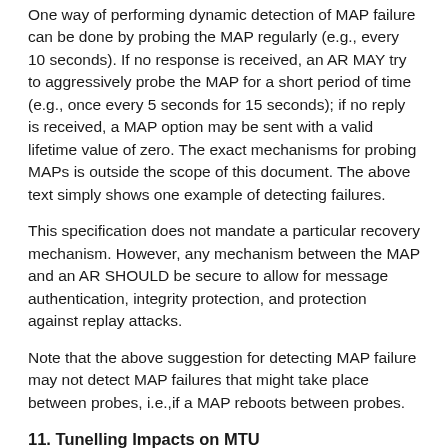One way of performing dynamic detection of MAP failure can be done by probing the MAP regularly (e.g., every 10 seconds). If no response is received, an AR MAY try to aggressively probe the MAP for a short period of time (e.g., once every 5 seconds for 15 seconds); if no reply is received, a MAP option may be sent with a valid lifetime value of zero. The exact mechanisms for probing MAPs is outside the scope of this document. The above text simply shows one example of detecting failures.
This specification does not mandate a particular recovery mechanism. However, any mechanism between the MAP and an AR SHOULD be secure to allow for message authentication, integrity protection, and protection against replay attacks.
Note that the above suggestion for detecting MAP failure may not detect MAP failures that might take place between probes, i.e.,if a MAP reboots between probes.
11. Tunelling Impacts on MTU